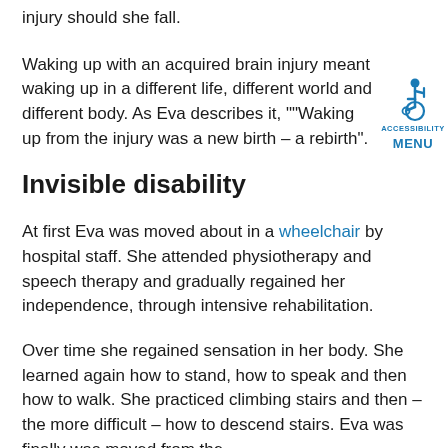injury should she fall.
Waking up with an acquired brain injury meant waking up in a different life, different world and different body. As Eva describes it, ""Waking up from the injury was a new birth – a rebirth".
[Figure (logo): Accessibility Menu icon — wheelchair symbol in blue with 'ACCESSIBILITY MENU' text below]
Invisible disability
At first Eva was moved about in a wheelchair by hospital staff. She attended physiotherapy and speech therapy and gradually regained her independence, through intensive rehabilitation.
Over time she regained sensation in her body. She learned again how to stand, how to speak and then how to walk. She practiced climbing stairs and then – the more difficult – how to descend stairs. Eva was finally was moved from the